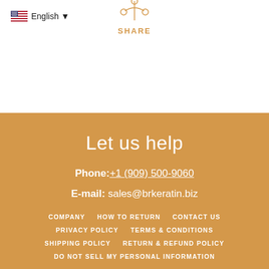English ▼
SHARE
Let us help
Phone: +1 (909) 500-9060
E-mail: sales@brkeratin.biz
COMPANY  HOW TO RETURN  CONTACT US  PRIVACY POLICY  TERMS & CONDITIONS  SHIPPING POLICY  RETURN & REFUND POLICY  DO NOT SELL MY PERSONAL INFORMATION